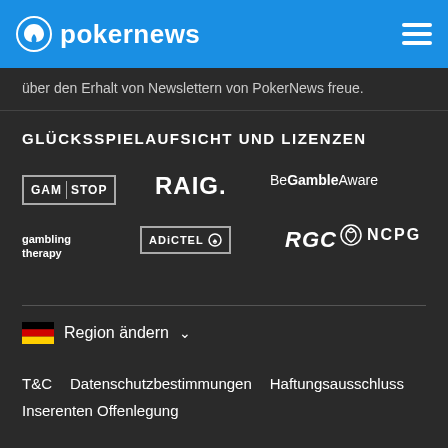pokernews
über den Erhalt von Newslettern von PokerNews freue.
GLÜCKSSPIELAUFSICHT UND LIZENZEN
[Figure (logo): GAM STOP logo]
[Figure (logo): RAIG. logo]
[Figure (logo): BeGambleAware logo]
[Figure (logo): gambling therapy logo]
[Figure (logo): ADICTEL logo]
[Figure (logo): RGC logo]
[Figure (logo): NCPG logo]
Region ändern
T&C  Datenschutzbestimmungen  Haftungsausschluss  Inserenten Offenlegung